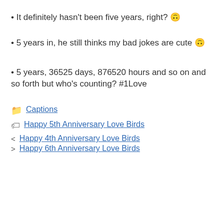It definitely hasn't been five years, right? 🙃
5 years in, he still thinks my bad jokes are cute 🙃
5 years, 36525 days, 876520 hours and so on and so forth but who's counting? #1Love
📁 Captions
🏷 Happy 5th Anniversary Love Birds
< Happy 4th Anniversary Love Birds
> Happy 6th Anniversary Love Birds